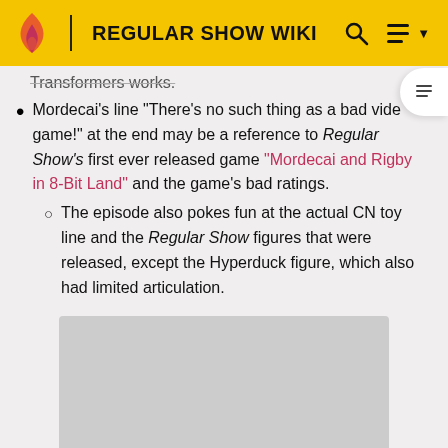REGULAR SHOW WIKI
Transformers works.
Mordecai's line "There's no such thing as a bad video game!" at the end may be a reference to Regular Show's first ever released game "Mordecai and Rigby in 8-Bit Land" and the game's bad ratings.
The episode also pokes fun at the actual CN toy line and the Regular Show figures that were released, except the Hyperduck figure, which also had limited articulation.
[Figure (photo): Gray image placeholder rectangle at the bottom of the page]